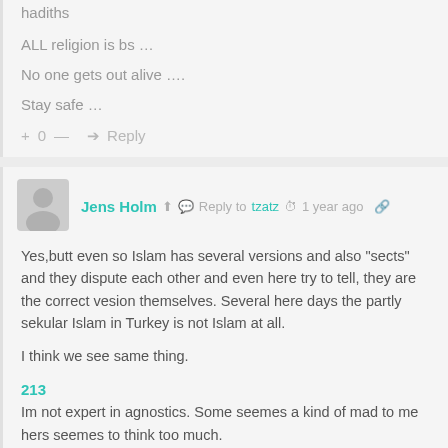hadiths
ALL religion is bs ...
No one gets out alive ....
Stay safe ...
+ 0 — ➜ Reply
[Figure (other): User avatar placeholder icon (grey silhouette)]
Jens Holm ⬅ 💬 Reply to tzatz 🕐 1 year ago 🔗
Yes,butt even so Islam has several versions and also "sects" and they dispute each other and even here try to tell, they are the correct vesion themselves. Several here days the partly sekular Islam in Turkey is not Islam at all.
I think we see same thing.
213
Im not expert in agnostics. Some seemes a kind of mad to me hers seemes to think too much.
+ 0 — ➜ Reply